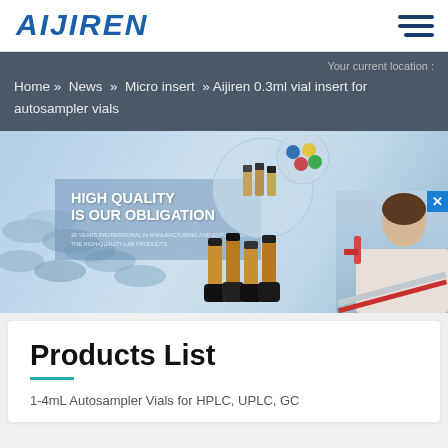[Figure (logo): Aijiren logo in blue italic bold text]
Your current location :
Home » News » Micro insert » Aijiren 0.3ml vial insert for autosampler vials
[Figure (photo): Banner image showing lab vials and autosampler products with text HIGH QUALITY IS OUR OBLIGATION, 20 YEARS PROFESSIONAL IN MANUFACTURING AND EXPORTING THE HIGH-QUALITY LAB PRODUCTS]
Products List
1-4mL Autosampler Vials for HPLC, UPLC, GC